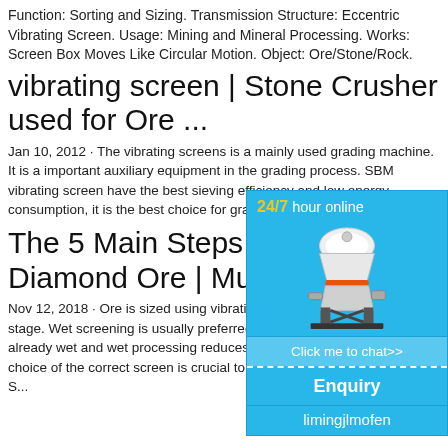Function: Sorting and Sizing. Transmission Structure: Eccentric Vibrating Screen. Usage: Mining and Mineral Processing. Works: Screen Box Moves Like Circular Motion. Object: Ore/Stone/Rock.
vibrating screen | Stone Crusher used for Ore ...
Jan 10, 2012 · The vibrating screens is a mainly used grading machine. It is a important auxiliary equipment in the grading process. SBM vibrating screen have the best sieving efficiency and low energy consumption, it is the best choice for grading machine. Tags: vibr...
The 5 Main Steps in Processing Diamond Ore | Multotec...
Nov 12, 2018 · Ore is sized using vibrating screens after each crushing stage. Wet screening is usually preferred if the ore from the mine is already wet and wet processing reduces the need for dust control. The choice of the correct screen is crucial to achieve efficient screening. 3- S...
[Figure (photo): Chat widget popup with a stone crusher machine image, '24/7 hour online' header in yellow/white text, 'Click me to chat>>' button, 'Enquiry' section, and username 'limingjlmofen']